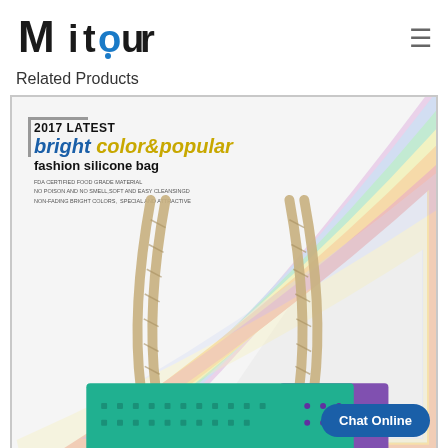[Figure (logo): Mitour logo with stylized M and blue O in 'our']
Related Products
[Figure (photo): Product image showing a colorful fashion silicone bag with rope handles. Text overlay reads: '2017 LATEST bright color&popular fashion silicone bag FDA CERTIFIED FOOD GRADE MATERIAL NO POISON AND NO SMELL,SOFT AND EASY CLEANSINGD NON-FADING BRIGHT COLORS, SPECIAL AND ATTRACTIVE'. Chat Online button at bottom right.]